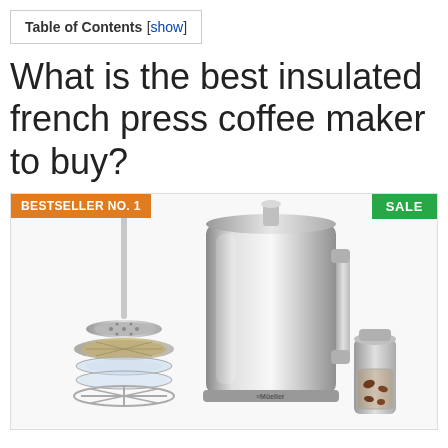Table of Contents [show]
What is the best insulated french press coffee maker to buy?
[Figure (photo): A stainless steel insulated French press coffee maker (Mueller brand) shown disassembled with plunger parts and a small coffee grinder beside it. Badges: BESTSELLER NO. 1 (orange, top-left) and SALE (green, top-right).]